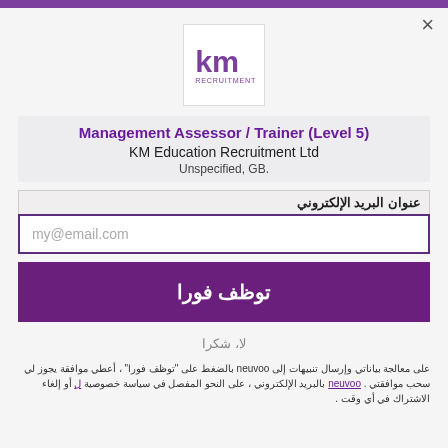[Figure (logo): KM Recruitment logo — purple 'km' letters above the word RECRUITMENT in a white square box]
Management Assessor / Trainer (Level 5)
KM Education Recruitment Ltd
Unspecified, GB.
عنوان البريد الإلكتروني
my@email.com
توظف فورا
لا، شكرا
على معالجة بياناتي وإرسال تنبيهات إلى neuvoo بالضغط على "توظف فورا" ، أعطي موافقة يجوز لي سحب موافقتي . neuvoo بالبريد الإلكتروني ، على النحو المفصل في سياسة خصوصية ل أو إلغاء الاشتراك في أي وقت .